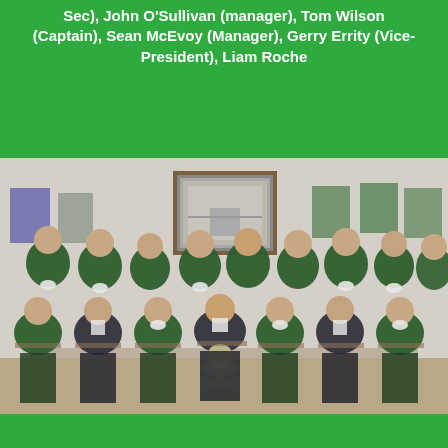Sec), John O'Sullivan (manager), Tom Wilson (Captain), Sean McEvoy (Manager), Gerry Errity (Vice-President), Liam Roche
[Figure (photo): Group photo of approximately 15 men in dark green golf sweaters with club crests, posed in two rows (standing and seated) in an indoor room with framed pictures on the wall. The seated man in the center holds a large silver trophy cup.]